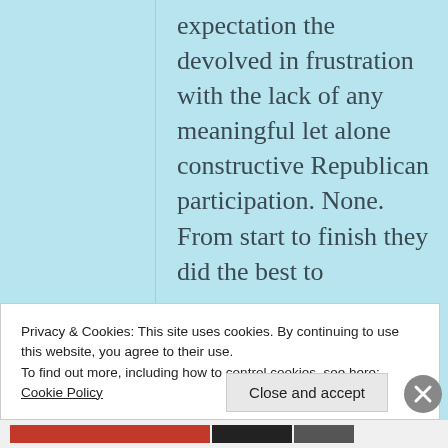expectation the devolved in frustration with the lack of any meaningful let alone constructive Republican participation. None. From start to finish they did the best to
Privacy & Cookies: This site uses cookies. By continuing to use this website, you agree to their use.
To find out more, including how to control cookies, see here: Cookie Policy